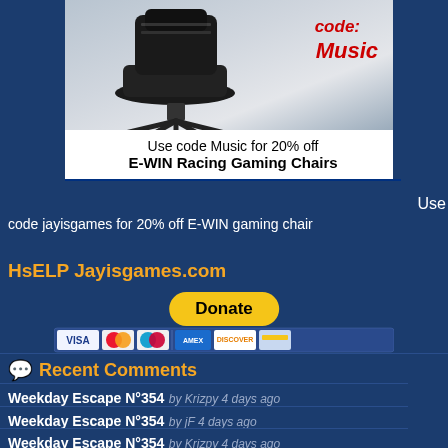[Figure (photo): Gaming chair with text overlay 'code: Music' in red italic text on a gray background]
Use code Music for 20% off
E-WIN Racing Gaming Chairs
Use code jayisgames for 20% off E-WIN gaming chair
HsELP Jayisgames.com
[Figure (other): PayPal Donate button with payment icons (Visa, Mastercard, Maestro, Amex, Discover, credit card)]
Recent Comments
Weekday Escape N°354  by Krizpy  4 days ago
Weekday Escape N°354  by jF  4 days ago
Weekday Escape N°354  by Krizpy  4 days ago